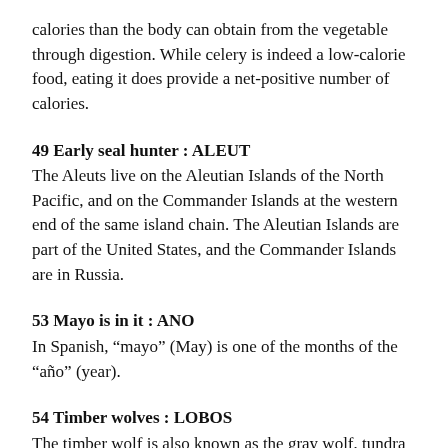calories than the body can obtain from the vegetable through digestion. While celery is indeed a low-calorie food, eating it does provide a net-positive number of calories.
49 Early seal hunter : ALEUT
The Aleuts live on the Aleutian Islands of the North Pacific, and on the Commander Islands at the western end of the same island chain. The Aleutian Islands are part of the United States, and the Commander Islands are in Russia.
53 Mayo is in it : ANO
In Spanish, “mayo” (May) is one of the months of the “año” (year).
54 Timber wolves : LOBOS
The timber wolf is also known as the gray wolf, tundra wolf or lobo.